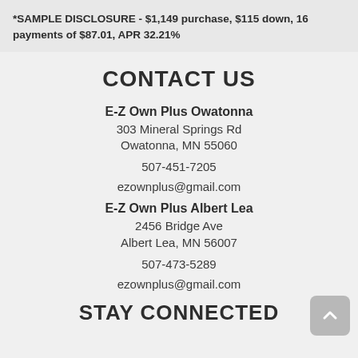*SAMPLE DISCLOSURE - $1,149 purchase, $115 down, 16 payments of $87.01, APR 32.21%
CONTACT US
E-Z Own Plus Owatonna
303 Mineral Springs Rd
Owatonna, MN 55060
507-451-7205
ezownplus@gmail.com
E-Z Own Plus Albert Lea
2456 Bridge Ave
Albert Lea, MN 56007
507-473-5289
ezownplus@gmail.com
STAY CONNECTED